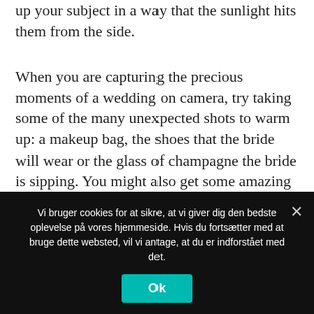up your subject in a way that the sunlight hits them from the side.
When you are capturing the precious moments of a wedding on camera, try taking some of the many unexpected shots to warm up: a makeup bag, the shoes that the bride will wear or the glass of champagne the bride is sipping. You might also get some amazing photos.
If you are going to be taking a picture of a large group, give them some suggestions on how to wear complementary clothing. Matching colors are not necessary, but complementary shades will greatly
Vi bruger cookies for at sikre, at vi giver dig den bedste oplevelse på vores hjemmeside. Hvis du fortsætter med at bruge dette websted, vil vi antage, at du er indforstået med det.
Ok